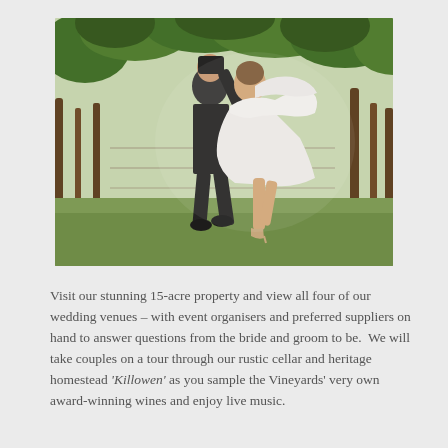[Figure (photo): A couple dancing or celebrating in a vineyard. The groom wears a dark suit and the bride wears a flowing white dress. Green grapevine rows are visible in the background on a grass lawn.]
Visit our stunning 15-acre property and view all four of our wedding venues – with event organisers and preferred suppliers on hand to answer questions from the bride and groom to be.  We will take couples on a tour through our rustic cellar and heritage homestead 'Killowen' as you sample the Vineyards' very own award-winning wines and enjoy live music.